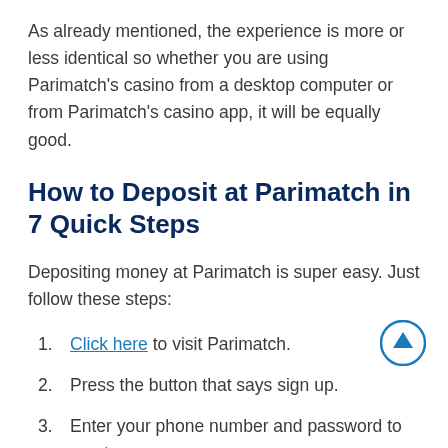As already mentioned, the experience is more or less identical so whether you are using Parimatch's casino from a desktop computer or from Parimatch's casino app, it will be equally good.
How to Deposit at Parimatch in 7 Quick Steps
Depositing money at Parimatch is super easy. Just follow these steps:
Click here to visit Parimatch.
Press the button that says sign up.
Enter your phone number and password to create